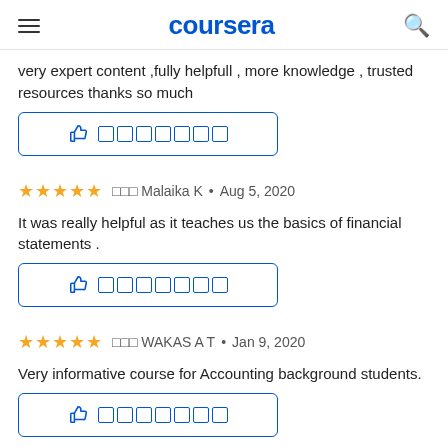coursera
very expert content ,fully helpfull , more knowledge , trusted resources thanks so much
[Figure (other): Helpful button with thumbs up icon and boxes]
⬜⬜⬜ Malaika K • Aug 5, 2020
It was really helpful as it teaches us the basics of financial statements .
[Figure (other): Helpful button with thumbs up icon and boxes]
⬜⬜⬜ WAKAS A T • Jan 9, 2020
Very informative course for Accounting background students.
[Figure (other): Helpful button with thumbs up icon and boxes]